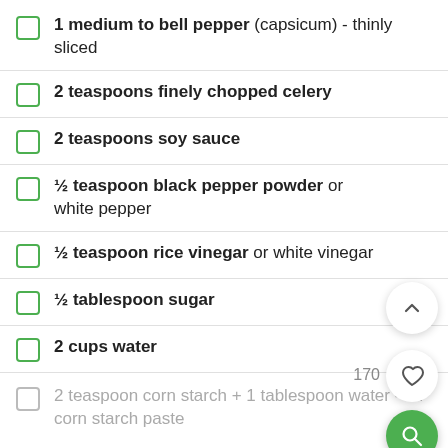1 medium to bell pepper (capsicum) - thinly sliced
2 teaspoons finely chopped celery
2 teaspoons soy sauce
½ teaspoon black pepper powder or white pepper
½ teaspoon rice vinegar or white vinegar
½ tablespoon sugar
2 cups water
2 teaspoon corn starch + 1 tablespoon water - for corn starch paste